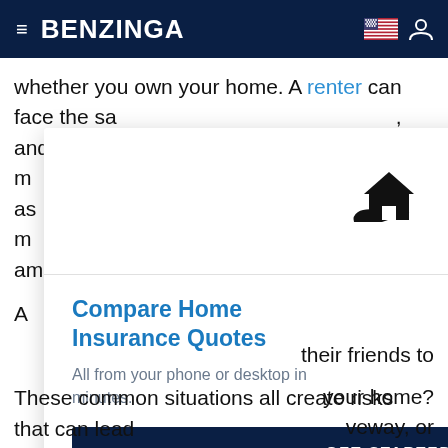BENZINGA
whether you own your home. A renter can face the same liability issues as a homeowner, and has many additional risks that may not be considered as much. This can affect the proper coverage amount.
A
[Figure (illustration): House held in hand icon, black silhouette]
Compare Home Insurance Quotes
All from your phone or desktop in minutes.
GET STARTED
their friends to
your home? veway, or
These common situations all create risks that can lead